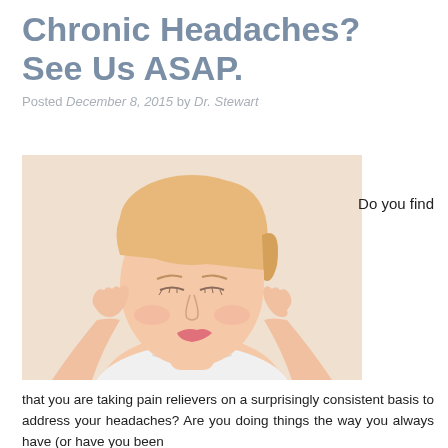Chronic Headaches? See Us ASAP.
Posted December 8, 2015 by Dr. Stewart
[Figure (photo): Woman with blonde hair pressing her fingertips to her temples, eyes closed, appearing to have a headache, wearing a white shirt, on a white background.]
Do you find
that you are taking pain relievers on a surprisingly consistent basis to address your headaches? Are you doing things the way you always have (or have you been